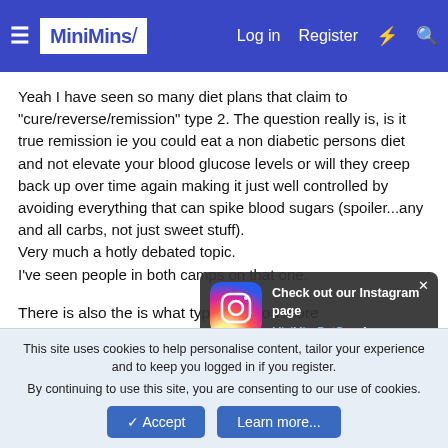MiniMins — Log in  Register
Yeah I have seen so many diet plans that claim to "cure/reverse/remission" type 2. The question really is, is it true remission ie you could eat a non diabetic persons diet and not elevate your blood glucose levels or will they creep back up over time again making it just well controlled by avoiding everything that can spike blood sugars (spoiler...any and all carbs, not just sweet stuff).
Very much a hotly debated topic.
I've seen people in both camps on that one.
There is also the issue of what type you are, are you more insulin resistant or are you just not making enough insulin or both and to what degree for each? Is your pancreas past the point of being able to recover and function normally again
[Figure (screenshot): Instagram popup notification: Check out our Instagram page MiniMinsDotCom for new content, recipies, ideas and motivation! with Instagram logo icon and X close button]
This site uses cookies to help personalise content, tailor your experience and to keep you logged in if you register.
By continuing to use this site, you are consenting to our use of cookies.